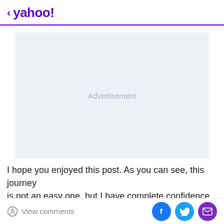< yahoo!
[Figure (other): Advertisement placeholder box with light gray background and centered 'Advertisement' label]
I hope you enjoyed this post. As you can see, this journey is not an easy one, but I have complete confidence it's
View comments  [Facebook share] [Twitter share] [Email share]